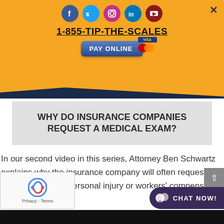1-855-TIP-THE-SCALES
[Figure (screenshot): Orange header banner with social media icons (Facebook, Twitter, Instagram, LinkedIn, YouTube), phone number 1-855-TIP-THE-SCALES, and a Pay Online button with Visa/Mastercard logos]
WHY DO INSURANCE COMPANIES REQUEST A MEDICAL EXAM?
In our second video in this series, Attorney Ben Schwartz explains why the insurance company will often request a medical exam for personal injury or workers' compensation c...
[Figure (illustration): CHAT NOW button in dark purple rounded rectangle with chat bubble icons]
[Figure (illustration): reCAPTCHA widget box with Privacy - Terms text]